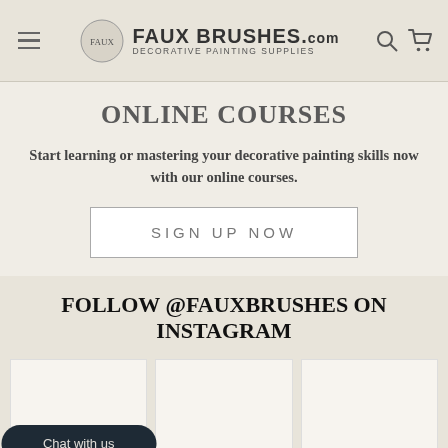FAUX BRUSHES.com DECORATIVE PAINTING SUPPLIES
ONLINE COURSES
Start learning or mastering your decorative painting skills now with our online courses.
SIGN UP NOW
FOLLOW @FAUXBRUSHES ON INSTAGRAM
[Figure (screenshot): Three blank Instagram image placeholders in a row grid. The first cell has a dark rounded 'Chat with us' button overlay.]